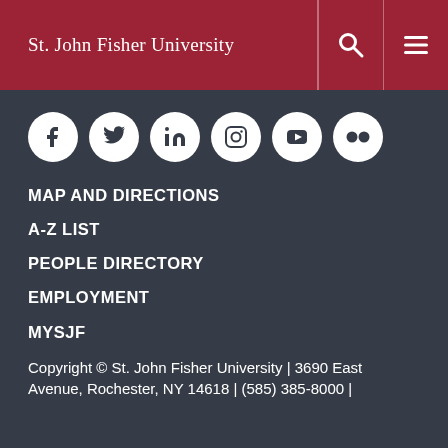St. John Fisher University
[Figure (infographic): Social media icons: Facebook, Twitter, LinkedIn, Instagram, YouTube, Flickr]
MAP AND DIRECTIONS
A-Z LIST
PEOPLE DIRECTORY
EMPLOYMENT
MYSJF
Copyright © St. John Fisher University | 3690 East Avenue, Rochester, NY 14618 | (585) 385-8000 |